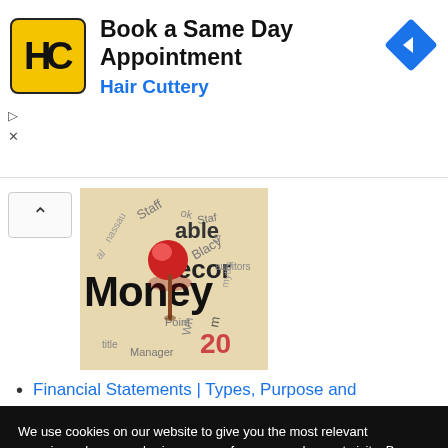[Figure (advertisement): Hair Cuttery ad banner with yellow HC logo, text 'Book a Same Day Appointment' and 'Hair Cuttery' in blue, blue diamond navigation icon on right]
[Figure (photo): Word cloud / financial concept image with a red pushpin, words including 'Money', 'Records', 'able', 'Staff', 'Point', 'Manager', 'auditors', 'myths' on a beige background]
Financial Statements | Types, Purpose and ...
We use cookies on our website to give you the most relevant experience by remembering your preferences and repeat visits. By clicking "Accept All", you consent to the use of ALL the cookies. However, you may visit "Cookie Settings" to provide a controlled consent.